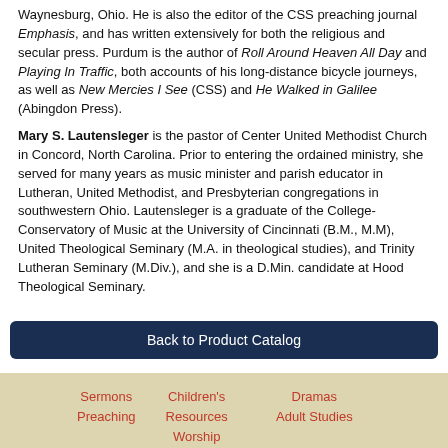Waynesburg, Ohio. He is also the editor of the CSS preaching journal Emphasis, and has written extensively for both the religious and secular press. Purdum is the author of Roll Around Heaven All Day and Playing In Traffic, both accounts of his long-distance bicycle journeys, as well as New Mercies I See (CSS) and He Walked in Galilee (Abingdon Press).
Mary S. Lautensleger is the pastor of Center United Methodist Church in Concord, North Carolina. Prior to entering the ordained ministry, she served for many years as music minister and parish educator in Lutheran, United Methodist, and Presbyterian congregations in southwestern Ohio. Lautensleger is a graduate of the College-Conservatory of Music at the University of Cincinnati (B.M., M.M), United Theological Seminary (M.A. in theological studies), and Trinity Lutheran Seminary (M.Div.), and she is a D.Min. candidate at Hood Theological Seminary.
Back to Product Catalog
Sermons Preaching | Children's Resources Worship Resources | Dramas Adult Studies | 5450 N. Dixie Hwy. • Lima, Ohio 45807 • 1-800-537-1030 • (419) 227-1818 Copyright © 1970-2020, CSS Publishing Company, All Rights Reserved.